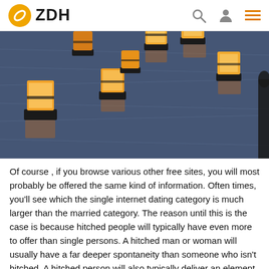ZDH
[Figure (photo): Floating paper lanterns with candles on water at dusk, multiple glowing orange lanterns reflected in dark rippling water]
Of course , if you browse various other free sites, you will most probably be offered the same kind of information. Often times, you'll see which the single internet dating category is much larger than the married category. The reason until this is the case is because hitched people will typically have even more to offer than single persons. A hitched man or woman will usually have a far deeper spontaneity than someone who isn't hitched. A hitched person will also typically deliver an element of a feeling of community for the dating internet site that he or she